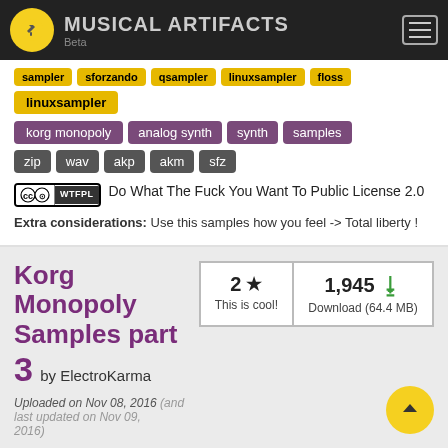MUSICAL ARTIFACTS Beta
sampler, sforzando, qsampler, linuxsampler, floss
linuxsampler
korg monopoly, analog synth, synth, samples
zip, wav, akp, akm, sfz
Do What The Fuck You Want To Public License 2.0
Extra considerations: Use this samples how you feel -> Total liberty !
Korg Monopoly Samples part 3
by ElectroKarma
2 ★ This is cool!
1,945 Download (64.4 MB)
Uploaded on Nov 08, 2016 (and last updated on Nov 09, 2016)